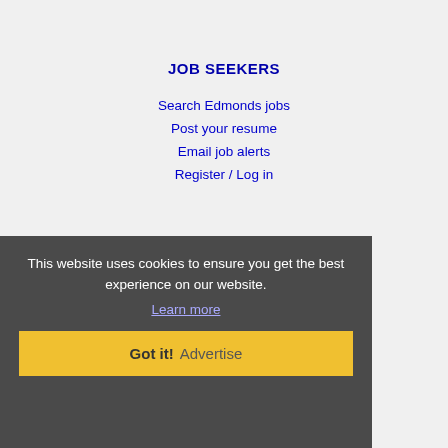JOB SEEKERS
Search Edmonds jobs
Post your resume
Email job alerts
Register / Log in
EMPLOYERS
Search resumes
Email resume alerts
Advertise
This website uses cookies to ensure you get the best experience on our website.
Learn more
Got it!  Advertise